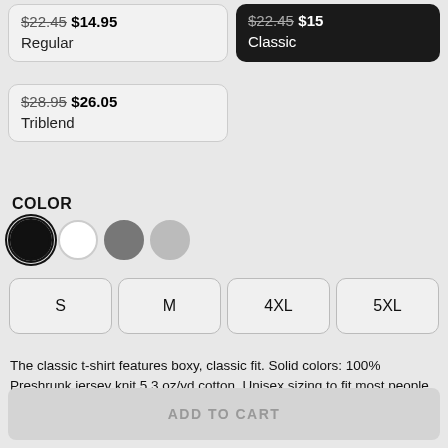$22.45 $14.95 Regular
$22.45 $15 Classic
$28.95 $26.05 Triblend
COLOR
[Figure (other): Four color swatches: black (selected), white, dark gray, light gray]
S  M  4XL  5XL
The classic t-shirt features boxy, classic fit. Solid colors: 100% Preshrunk jersey knit 5.3 oz/yd cotton. Unisex sizing to fit most people. More Product Information & Size Chart
ADD TO CART